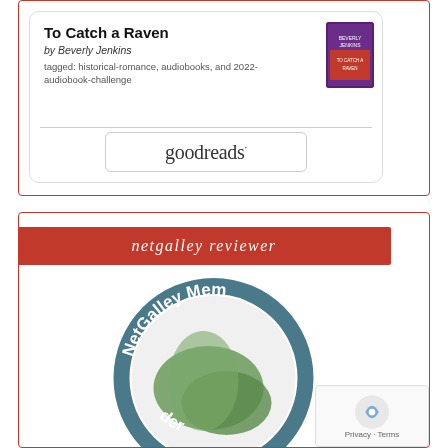[Figure (screenshot): Goodreads widget showing book 'To Catch a Raven' by Beverly Jenkins, tagged: historical-romance, audiobooks, and 2022-audiobook-challenge, with book cover thumbnail and Goodreads logo]
To Catch a Raven
by Beverly Jenkins
tagged: historical-romance, audiobooks, and 2022-audiobook-challenge
[Figure (logo): Goodreads logo in a rounded rectangle border]
netgalley reviewer
[Figure (logo): NetGalley Member badge - circular badge with teal border and green stylized N logo in center]